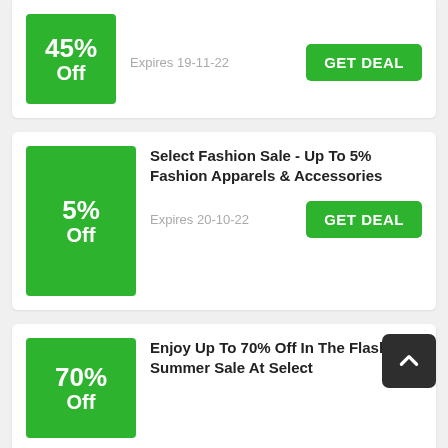[Figure (infographic): Partial deal card showing 45% Off discount badge, Expires 19-11-22, and GET DEAL button]
[Figure (infographic): Deal card: 5% Off badge, title 'Select Fashion Sale - Up To 5% Fashion Apparels & Accessories', Expires 20-10-22, GET DEAL button]
[Figure (infographic): Partial deal card showing 70% Off discount badge, title 'Enjoy Up To 70% Off In The Flash Summer Sale At Select']